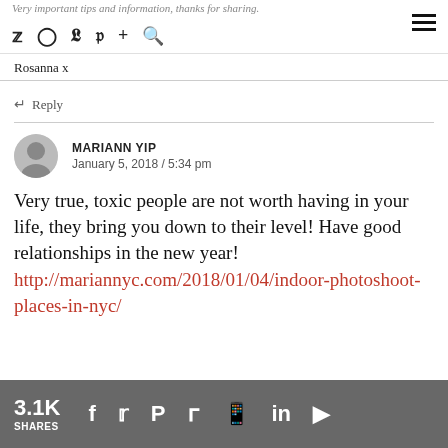Very important tips and information, thanks for sharing. development checked
Rosanna x
Reply
MARIANN YIP
January 5, 2018 / 5:34 pm
Very true, toxic people are not worth having in your life, they bring you down to their level! Have good relationships in the new year!
http://mariannyc.com/2018/01/04/indoor-photoshoot-places-in-nyc/
3.1K SHARES